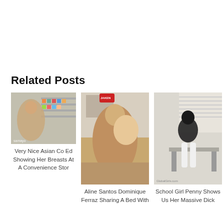Related Posts
[Figure (photo): Photo of Asian woman in a convenience store]
Very Nice Asian Co Ed Showing Her Breasts At A Convenience Stor
[Figure (photo): Photo of Aline Santos and Dominique Ferraz]
Aline Santos Dominique Ferraz Sharing A Bed With
[Figure (photo): Photo of School Girl Penny]
School Girl Penny Shows Us Her Massive Dick